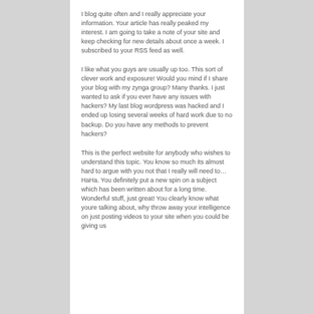I blog quite often and I really appreciate your information. Your article has really peaked my interest. I am going to take a note of your site and keep checking for new details about once a week. I subscribed to your RSS feed as well.
I like what you guys are usually up too. This sort of clever work and exposure! Would you mind if I share your blog with my zynga group? Many thanks. I just wanted to ask if you ever have any issues with hackers? My last blog wordpress was hacked and I ended up losing several weeks of hard work due to no backup. Do you have any methods to prevent hackers?
This is the perfect website for anybody who wishes to understand this topic. You know so much its almost hard to argue with you not that I really will need to…HaHa. You definitely put a new spin on a subject which has been written about for a long time. Wonderful stuff, just great! You clearly know what youre talking about, why throw away your intelligence on just posting videos to your site when you could be giving us